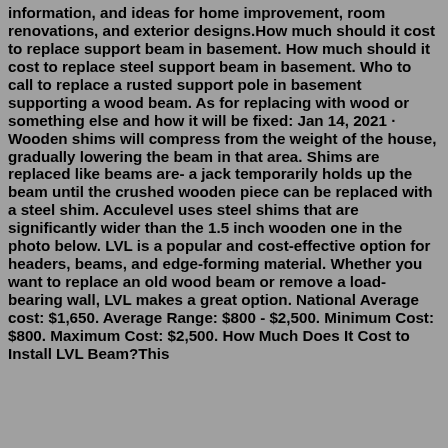information, and ideas for home improvement, room renovations, and exterior designs.How much should it cost to replace support beam in basement. How much should it cost to replace steel support beam in basement. Who to call to replace a rusted support pole in basement supporting a wood beam. As for replacing with wood or something else and how it will be fixed: Jan 14, 2021 · Wooden shims will compress from the weight of the house, gradually lowering the beam in that area. Shims are replaced like beams are- a jack temporarily holds up the beam until the crushed wooden piece can be replaced with a steel shim. Acculevel uses steel shims that are significantly wider than the 1.5 inch wooden one in the photo below. LVL is a popular and cost-effective option for headers, beams, and edge-forming material. Whether you want to replace an old wood beam or remove a load-bearing wall, LVL makes a great option. National Average cost: $1,650. Average Range: $800 - $2,500. Minimum Cost: $800. Maximum Cost: $2,500. How Much Does It Cost to Install LVL Beam?This